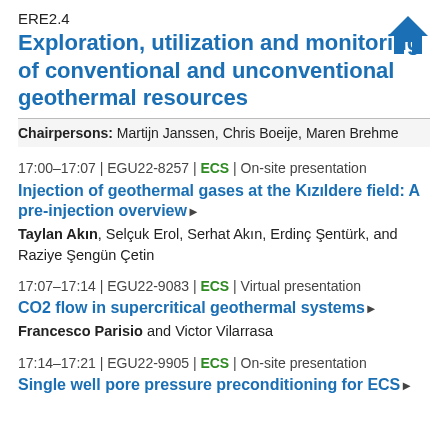ERE2.4
Exploration, utilization and monitoring of conventional and unconventional geothermal resources
Chairpersons: Martijn Janssen, Chris Boeije, Maren Brehme
17:00–17:07 | EGU22-8257 | ECS | On-site presentation
Injection of geothermal gases at the Kızıldere field: A pre-injection overview
Taylan Akın, Selçuk Erol, Serhat Akın, Erdinç Şentürk, and Raziye Şengün Çetin
17:07–17:14 | EGU22-9083 | ECS | Virtual presentation
CO2 flow in supercritical geothermal systems
Francesco Parisio and Victor Vilarrasa
17:14–17:21 | EGU22-9905 | ECS | On-site presentation
Single well pore pressure preconditioning for ECS